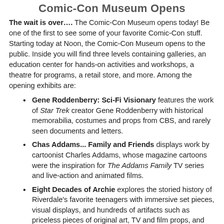Comic-Con Museum Opens
The wait is over.... The Comic-Con Museum opens today! Be one of the first to see some of your favorite Comic-Con stuff. Starting today at Noon, the Comic-Con Museum opens to the public. Inside you will find three levels containing galleries, an education center for hands-on activities and workshops, a theatre for programs, a retail store, and more. Among the opening exhibits are:
Gene Roddenberry: Sci-Fi Visionary features the work of Star Trek creator Gene Roddenberry with historical memorabilia, costumes and props from CBS, and rarely seen documents and letters.
Chas Addams... Family and Friends displays work by cartoonist Charles Addams, whose magazine cartoons were the inspiration for The Addams Family TV series and live-action and animated films.
Eight Decades of Archie explores the storied history of Riverdale's favorite teenagers with immersive set pieces, visual displays, and hundreds of artifacts such as priceless pieces of original art, TV and film props, and other memorabilia.
PAC-MAN Arcade, having celebrated his 40th anniversary last year and being inducted in the San Diego Comic-Con